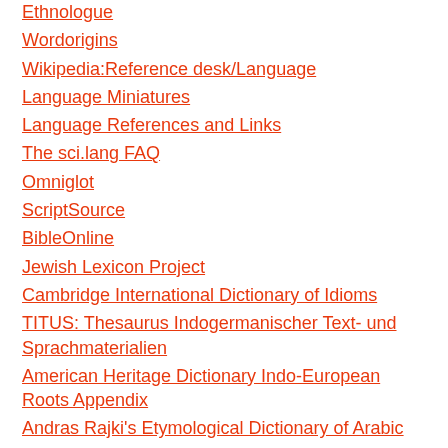Ethnologue
Wordorigins
Wikipedia:Reference desk/Language
Language Miniatures
Language References and Links
The sci.lang FAQ
Omniglot
ScriptSource
BibleOnline
Jewish Lexicon Project
Cambridge International Dictionary of Idioms
TITUS: Thesaurus Indogermanischer Text- und Sprachmaterialien
American Heritage Dictionary Indo-European Roots Appendix
Andras Rajki's Etymological Dictionary of Arabic
Germanic Lexicon Project
Dictionary of the Scots Language
Das Deutsche Wörterbuch von Jacob und Wilhelm Grimm
Wortschatz Deutsch
Etymologisches Wörterbuch des Deutschen
DWDS (Der deutsche Wortschatz von 1600 bis heute)